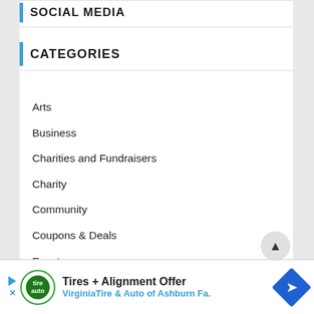SOCIAL MEDIA
CATEGORIES
Arts
Business
Charities and Fundraisers
Charity
Community
Coupons & Deals
Events
Fun Stuff
Holiday
Live Music & Entertainment
Tires + Alignment Offer
VirginiaTire & Auto of Ashburn Fa.